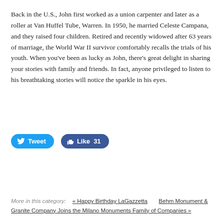Back in the U.S., John first worked as a union carpenter and later as a roller at Van Huffel Tube, Warren. In 1950, he married Celeste Campana, and they raised four children. Retired and recently widowed after 63 years of marriage, the World War II survivor comfortably recalls the trials of his youth. When you've been as lucky as John, there's great delight in sharing your stories with family and friends. In fact, anyone privileged to listen to his breathtaking stories will notice the sparkle in his eyes.
[Figure (other): Social sharing buttons: Tweet button (Twitter/blue) and Like 31 button (Facebook/blue)]
More in this category:   « Happy Birthday LaGazzetta   Behm Monument & Granite Company Joins the Milano Monuments Family of Companies »